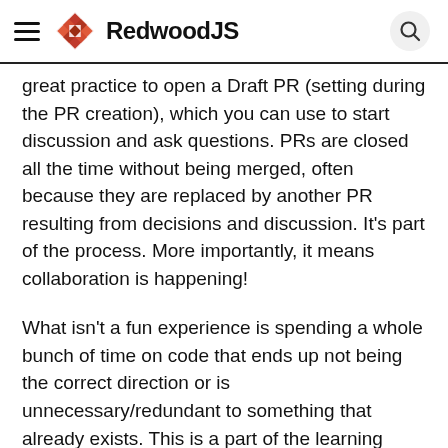RedwoodJS
great practice to open a Draft PR (setting during the PR creation), which you can use to start discussion and ask questions. PRs are closed all the time without being merged, often because they are replaced by another PR resulting from decisions and discussion. It's part of the process. More importantly, it means collaboration is happening!
What isn't a fun experience is spending a whole bunch of time on code that ends up not being the correct direction or is unnecessary/redundant to something that already exists. This is a part of the learning process. But it's another reason to open a draft